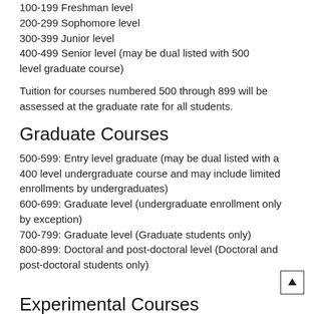100-199 Freshman level
200-299 Sophomore level
300-399 Junior level
400-499 Senior level (may be dual listed with 500 level graduate course)
Tuition for courses numbered 500 through 899 will be assessed at the graduate rate for all students.
Graduate Courses
500-599: Entry level graduate (may be dual listed with a 400 level undergraduate course and may include limited enrollments by undergraduates)
600-699: Graduate level (undergraduate enrollment only by exception)
700-799: Graduate level (Graduate students only)
800-899: Doctoral and post-doctoral level (Doctoral and post-doctoral students only)
Experimental Courses